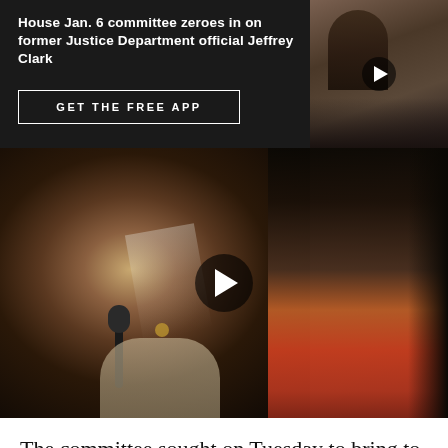House Jan. 6 committee zeroes in on former Justice Department official Jeffrey Clark
GET THE FREE APP
[Figure (photo): Thumbnail video still showing a man in a suit at what appears to be a congressional hearing]
[Figure (photo): Main photo showing a Black woman with long black and white streaked hair speaking at a microphone at what appears to be a congressional hearing, with another woman in red visible in the background]
The committee sought on Tuesday to bring to light the severity of the threat to democracy in the days and weeks after the election, given the enormous